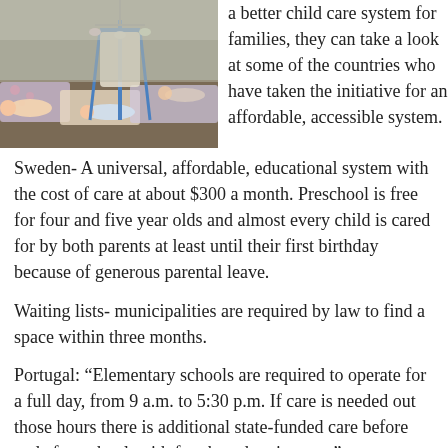[Figure (photo): Photo of infants and young children lying on mats/blankets in a child care or nursery setting, with a caregiver visible in the background.]
a better child care system for families, they can take a look at some of the countries who have taken the initiative for an affordable, accessible system.
Sweden- A universal, affordable, educational system with the cost of care at about $300 a month. Preschool is free for four and five year olds and almost every child is cared for by both parents at least until their first birthday because of generous parental leave.
Waiting lists- municipalities are required by law to find a space within three months.
Portugal: “Elementary schools are required to operate for a full day, from 9 a.m. to 5:30 p.m. If care is needed out those hours there is additional state-funded care before and after school, with fees based on income.”